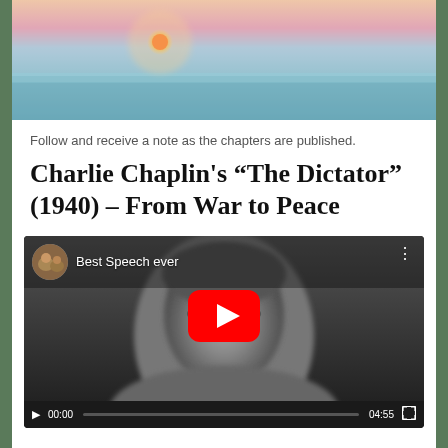[Figure (photo): Sunset or sunrise over water/sea with soft pastel colors, pink and teal tones, sun near horizon]
Follow and receive a note as the chapters are published.
Charlie Chaplin's “The Dictator” (1940) – From War to Peace
[Figure (screenshot): YouTube video embed showing a grayscale image of a man's face with a red YouTube play button in the center. Video header shows channel avatar (image of animals) and title 'Best Speech ever'. Video controls bar at bottom shows play button, time 00:00, progress bar, end time 04:55, and fullscreen button.]